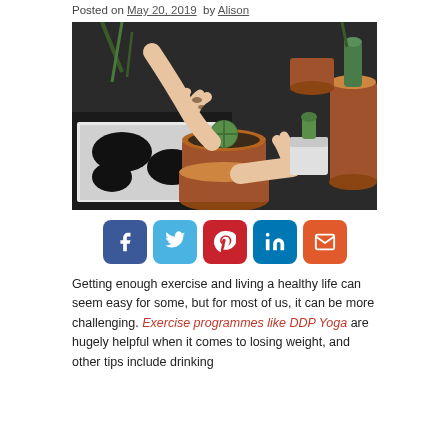Posted on May 20, 2019  by Alison
[Figure (photo): Hands repotting a small cactus into a terracotta pot, surrounded by various cacti and succulents in pots on a dark surface with soil.]
[Figure (infographic): Social sharing buttons row: Facebook (dark blue), Twitter (light blue), Pinterest (red), LinkedIn (blue), Email (orange-red)]
Getting enough exercise and living a healthy life can seem easy for some, but for most of us, it can be more challenging. Exercise programmes like DDP Yoga are hugely helpful when it comes to losing weight, and other tips include drinking